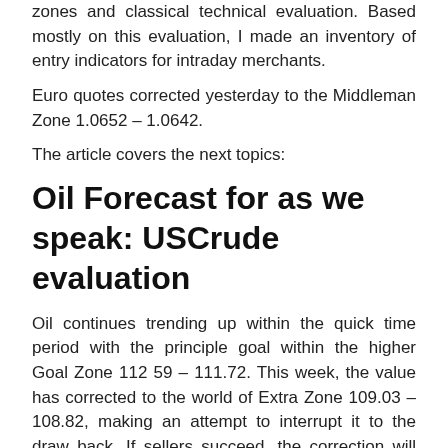zones and classical technical evaluation. Based mostly on this evaluation, I made an inventory of entry indicators for intraday merchants.
Euro quotes corrected yesterday to the Middleman Zone 1.0652 – 1.0642.
The article covers the next topics:
Oil Forecast for as we speak: USCrude evaluation
Oil continues trending up within the quick time period with the principle goal within the higher Goal Zone 112 59 – 111.72. This week, the value has corrected to the world of Extra Zone 109.03 – 108.82, making an attempt to interrupt it to the draw back. If sellers succeed, the correction will proceed with a goal in Middleman Zone